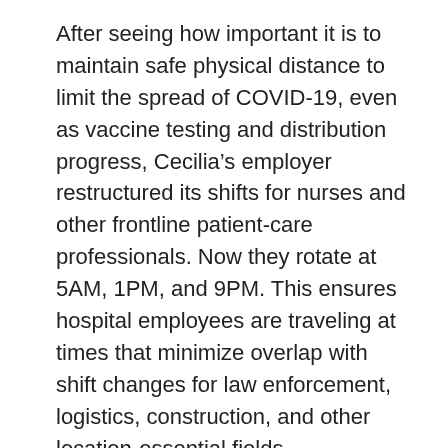After seeing how important it is to maintain safe physical distance to limit the spread of COVID-19, even as vaccine testing and distribution progress, Cecilia's employer restructured its shifts for nurses and other frontline patient-care professionals. Now they rotate at 5AM, 1PM, and 9PM. This ensures hospital employees are traveling at times that minimize overlap with shift changes for law enforcement, logistics, construction, and other location-essential fields.
Enrique works the night shift at a nearby factory. “I started out as a sheetmetal fabricator, working my way up to production line manager and shop steward.” When the COVID-19 pandemic hit, he was furloughed, but his employer received a federal loan